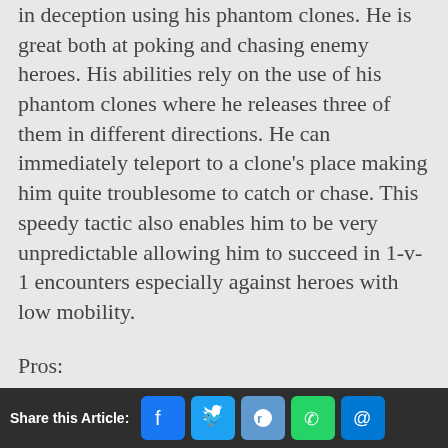in deception using his phantom clones. He is great both at poking and chasing enemy heroes. His abilities rely on the use of his phantom clones where he releases three of them in different directions. He can immediately teleport to a clone's place making him quite troublesome to catch or chase. This speedy tactic also enables him to be very unpredictable allowing him to succeed in 1-v-1 encounters especially against heroes with low mobility.
Pros:
very high mobility
Share this Article: [Facebook] [Twitter] [Reddit] [WhatsApp] [Email]